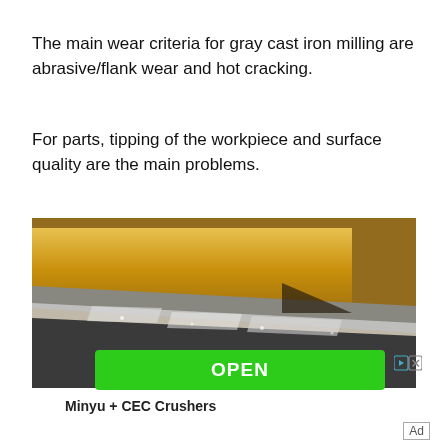The main wear criteria for gray cast iron milling are abrasive/flank wear and hot cracking.
For parts, tipping of the workpiece and surface quality are the main problems.
[Figure (photo): Close-up macro photo of a cutting tool insert showing gold/yellow coating on the tool edge with gray cast iron workpiece material, showing wear and contact surface]
OPEN
Minyu + CEC Crushers
Ad